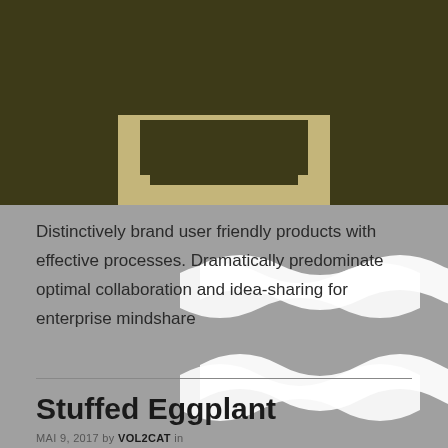[Figure (illustration): Dark olive/brown rectangular graphic with a beige/tan arch or gateway shape in the center, resembling a drawer handle or doorframe motif. Two white wave/squiggle shapes overlay the lower portion of the image area.]
Distinctively brand user friendly products with effective processes. Dramatically predominate optimal collaboration and idea-sharing for enterprise mindshare
Stuffed Eggplant
MAI 9, 2017 by VOL2CAT in